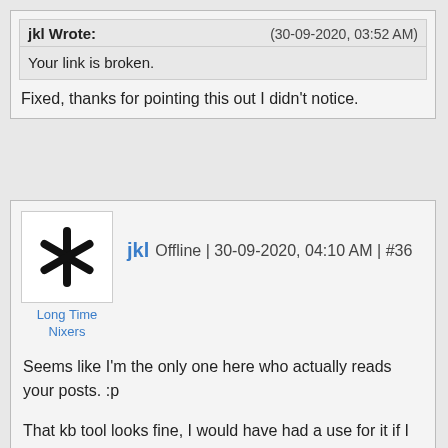jkl Wrote: (30-09-2020, 03:52 AM)
Your link is broken.
Fixed, thanks for pointing this out I didn't notice.
jkl Offline | 30-09-2020, 04:10 AM | #36
Long Time Nixers
Seems like I'm the only one here who actually reads your posts. :p

That kb tool looks fine, I would have had a use for it if I wouldn't have seen org-mode first. Thank you!
--
<mort> choosing a terrible license just to be spiteful towards others is